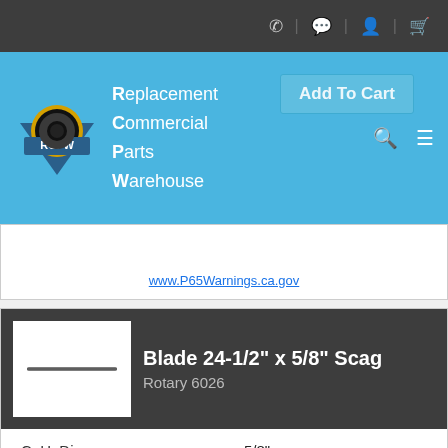Replacement Commercial Parts Warehouse — RCPW navigation bar
www.P65Warnings.ca.gov
Blade 24-1/2" x 5/8" Scag
Rotary 6026
| Attribute | Value |
| --- | --- |
| C. H. Dia | 5/8" |
| Cut Direction | Right |
| Length | 24-1/2" |
| Thickness | .2040" |
| Width | 2-1/2" |